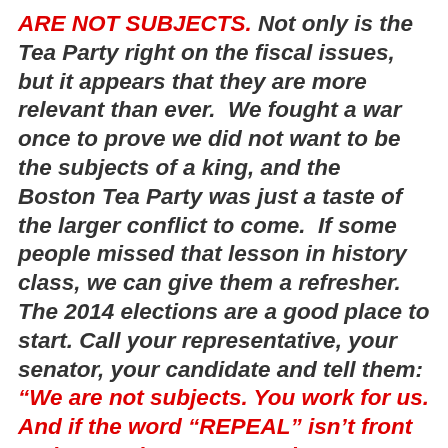ARE NOT SUBJECTS. Not only is the Tea Party right on the fiscal issues, but it appears that they are more relevant than ever.  We fought a war once to prove we did not want to be the subjects of a king, and the  Boston Tea Party was just a taste of the larger conflict to come.  If some people missed that lesson in history class, we can give them a refresher.  The 2014 elections are a good place to start. Call your representative, your senator, your candidate and tell them: “We are not subjects. You work for us. And if the word “REPEAL” isn’t front and center in your campaign, we won’t vote for you. Period.”